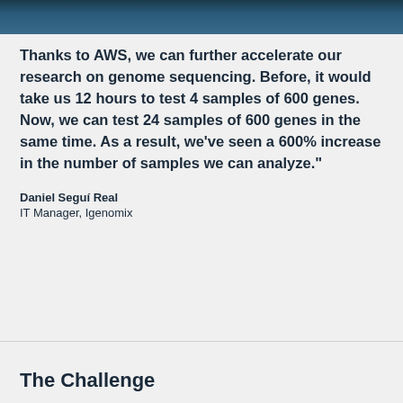[Figure (photo): Dark blue-toned photo strip at top of page, showing a person in a laboratory or research setting]
Thanks to AWS, we can further accelerate our research on genome sequencing. Before, it would take us 12 hours to test 4 samples of 600 genes. Now, we can test 24 samples of 600 genes in the same time. As a result, we’ve seen a 600% increase in the number of samples we can analyze."
Daniel Seguí Real
IT Manager, Igenomix
The Challenge